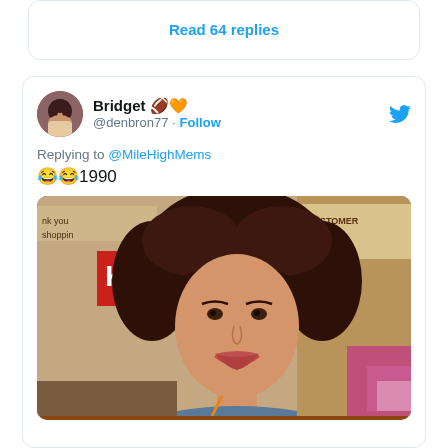Read 64 replies
Bridget 🏈🧡 @denbron77 · Follow
Replying to @MileHighMems
😂😂1990
[Figure (photo): Vintage 1990 photo of a young woman with big curly dark hair and bangs, smiling at camera, inside what appears to be a Kmart store with signs visible in background]